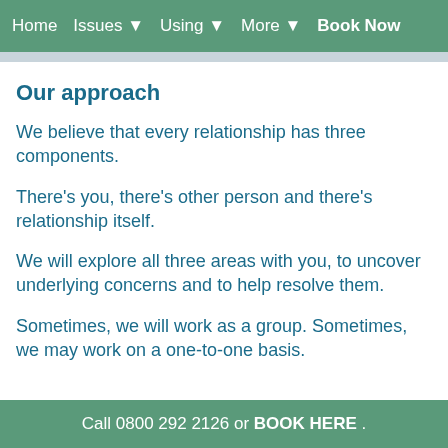Home   Issues ▼   Using ▼   More ▼   Book Now
Our approach
We believe that every relationship has three components.
There's you, there's other person and there's relationship itself.
We will explore all three areas with you, to uncover underlying concerns and to help resolve them.
Sometimes, we will work as a group. Sometimes, we may work on a one-to-one basis.
Call 0800 292 2126 or BOOK HERE .